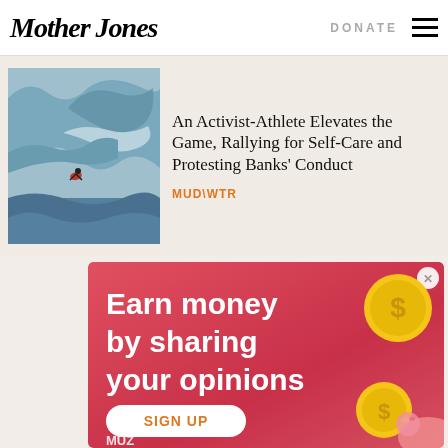Mother Jones | DONATE
[Figure (photo): Surfer riding a large wave, aerial view]
An Activist-Athlete Elevates the Game, Rallying for Self-Care and Protesting Banks' Conduct
MUD\WTR
[Figure (infographic): Advertisement: Earn money by sharing your opinions. SIGN UP button. Features gold coins and a piggy bank illustration on a pink/red background. MUZ logo at bottom.]